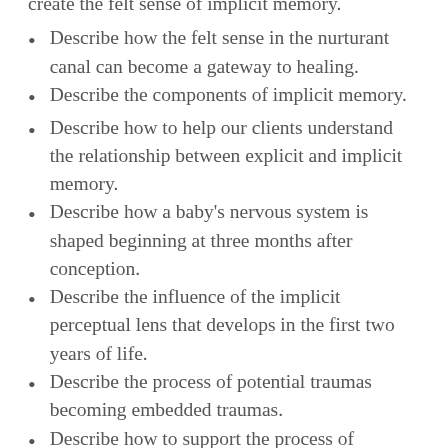Describe how the felt sense in the nurturant canal can become a gateway to healing.
Describe the components of implicit memory.
Describe how to help our clients understand the relationship between explicit and implicit memory.
Describe how a baby's nervous system is shaped beginning at three months after conception.
Describe the influence of the implicit perceptual lens that develops in the first two years of life.
Describe the process of potential traumas becoming embedded traumas.
Describe how to support the process of memory reconsolidation.
Describe the role of mirror neurons and resonance circuitry in forming the inner community.